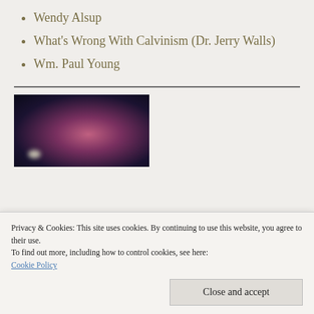Wendy Alsup
What's Wrong With Calvinism (Dr. Jerry Walls)
Wm. Paul Young
[Figure (photo): Blurred dark photo with purple/pink bokeh light effect, possibly flowers or outdoor scene at night]
Privacy & Cookies: This site uses cookies. By continuing to use this website, you agree to their use.
To find out more, including how to control cookies, see here:
Cookie Policy
Close and accept